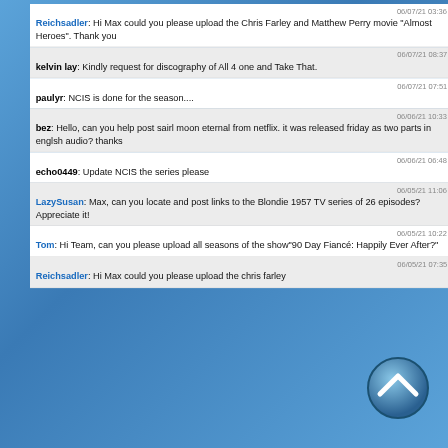06/07/21 03:36 PM
Reichsadler: Hi Max could you please upload the Chris Farley and Matthew Perry movie "Almost Heroes". Thank you
06/07/21 08:37 AM
kelvin lay: Kindly request for discography of All 4 one and Take That.
06/07/21 07:51 AM
paulyr: NCIS is done for the season....
06/06/21 10:33 PM
bez: Hello, can you help post sairl moon eternal from netflix. it was released friday as two parts in englsh audio? thanks
06/06/21 06:48 PM
echo0449: Update NCIS the series please
06/05/21 11:06 PM
LazySusan: Max, can you locate and post links to the Blondie 1957 TV series of 26 episodes? Appreciate it!
06/05/21 10:22 PM
Tom: Hi Team, can you please upload all seasons of the show"90 Day Fiancé: Happily Ever After?"
06/05/21 07:35 AM
Reichsadler: Hi Max could you please upload the chris farley